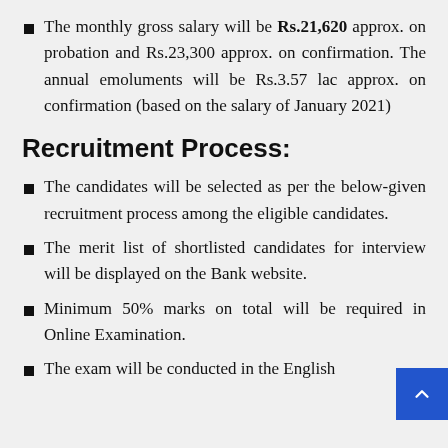The monthly gross salary will be Rs.21,620 approx. on probation and Rs.23,300 approx. on confirmation. The annual emoluments will be Rs.3.57 lac approx. on confirmation (based on the salary of January 2021)
Recruitment Process:
The candidates will be selected as per the below-given recruitment process among the eligible candidates.
The merit list of shortlisted candidates for interview will be displayed on the Bank website.
Minimum 50% marks on total will be required in Online Examination.
The exam will be conducted in the English